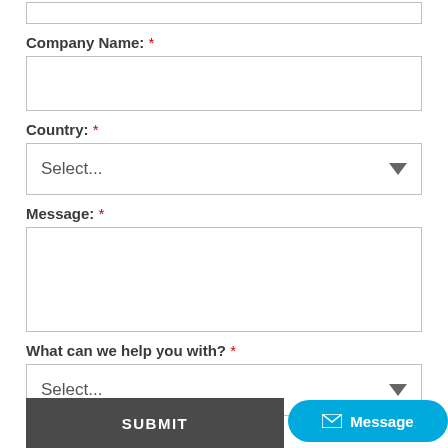[top input box - partial]
Company Name: *
Country: *
Message: *
What can we help you with? *
SUBMIT
Message